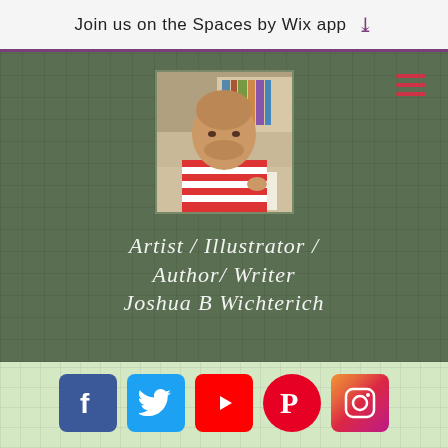Join us on the Spaces by Wix app
[Figure (photo): Profile photo of Joshua B Wichterich, a man in a red and white striped shirt, sitting at a drawing desk]
Artist / Illustrator / Author/ Writer Joshua B Wichterich
[Figure (infographic): Social media icons: Facebook, Twitter, YouTube, Pinterest, Instagram]
THE LAST LEGEND IS NOW AVAILABLE IN ONE BOOK: CHRONICLES OF THE LAST LEGEND